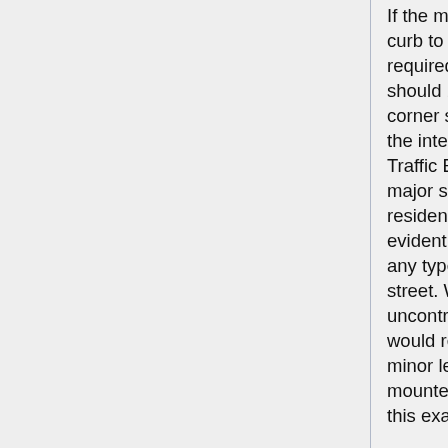If the major street is at least 36' wide from back of curb to back of curb, two sign installations are required. One post-mounted Street Name sign should be placed on each diagonally opposite corner so that they will be on the far right side of the intersection for traffic on the major street. Traffic Engineering staff should determine the major street. In most cases, other than residential-residential street intersections, it should be evident. In general, the street that does not have any type of control would be declared the major street. Where the intersection is still an uncontrolled 4-way intersection, City practice would require that we install stop signs on the minor legs and the street name signs would be mounted above the stop sign. The final decision in this example would be made